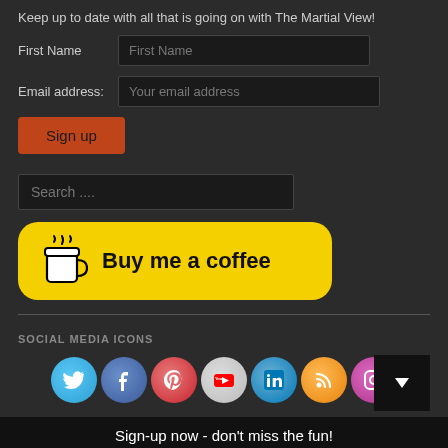Keep up to date with all that is going on with The Martial View!
First Name  [First Name input]
Email address:  [Your email address input]
[Figure (infographic): Orange 'Sign up' button]
[Figure (infographic): Search input field with placeholder 'Search ....']
[Figure (infographic): Yellow 'Buy me a coffee' button with coffee cup icon]
SOCIAL MEDIA ICONS
[Figure (infographic): Row of social media icon circles: Twitter, Facebook, Pinterest, YouTube, LinkedIn, RSS, Instagram]
Sign-up now - don't miss the fun!
[Figure (infographic): White email input field with placeholder 'Your email address..']
[Figure (infographic): Red Subscribe button]